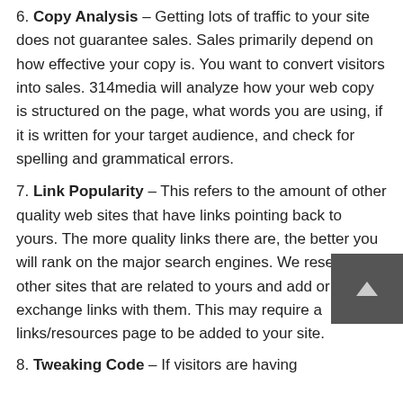6. Copy Analysis – Getting lots of traffic to your site does not guarantee sales. Sales primarily depend on how effective your copy is. You want to convert visitors into sales. 314media will analyze how your web copy is structured on the page, what words you are using, if it is written for your target audience, and check for spelling and grammatical errors.
7. Link Popularity – This refers to the amount of other quality web sites that have links pointing back to yours. The more quality links there are, the better you will rank on the major search engines. We research other sites that are related to yours and add or exchange links with them. This may require a links/resources page to be added to your site.
8. Tweaking Code – If visitors are having